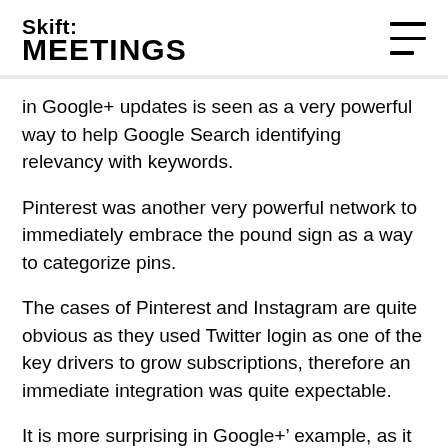Skift: MEETINGS
in Google+ updates is seen as a very powerful way to help Google Search identifying relevancy with keywords.
Pinterest was another very powerful network to immediately embrace the pound sign as a way to categorize pins.
The cases of Pinterest and Instagram are quite obvious as they used Twitter login as one of the key drivers to grow subscriptions, therefore an immediate integration was quite expectable.
It is more surprising in Google+' example, as it